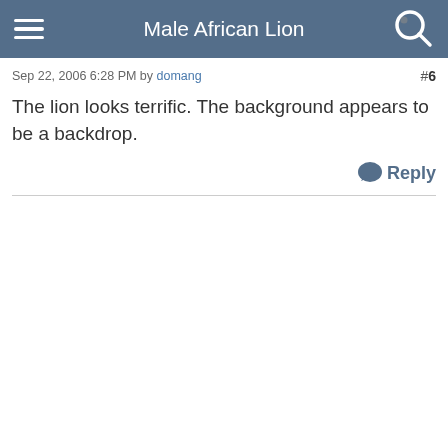Male African Lion
Sep 22, 2006 6:28 PM by domang  #6
The lion looks terrific. The background appears to be a backdrop.
Reply